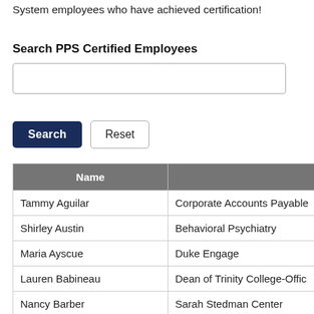System employees who have achieved certification!
Search PPS Certified Employees
[Figure (screenshot): Search input text box for PPS Certified Employees]
[Figure (screenshot): Search and Reset buttons]
| Name | Depar… |
| --- | --- |
| Tammy Aguilar | Corporate Accounts Payable |
| Shirley Austin | Behavioral Psychiatry |
| Maria Ayscue | Duke Engage |
| Lauren Babineau | Dean of Trinity College-Offic… |
| Nancy Barber | Sarah Stedman Center |
| Susan Barker | Fuqua School of Business, M… |